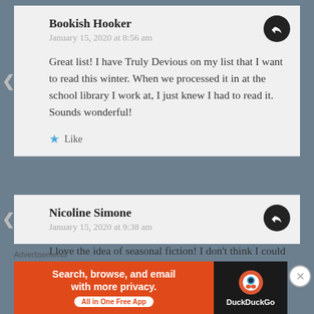Bookish Hooker
January 15, 2020 at 8:56 am
Great list! I have Truly Devious on my list that I want to read this winter. When we processed it in at the school library I work at, I just knew I had to read it. Sounds wonderful!
Like
Nicoline Simone
January 15, 2020 at 9:38 am
I love the idea of seasonal fiction! I don't think I could manage though:)
Advertisements
[Figure (other): DuckDuckGo advertisement banner: orange section with text 'Search, browse, and email with more privacy. All in One Free App' and dark section with DuckDuckGo duck logo]